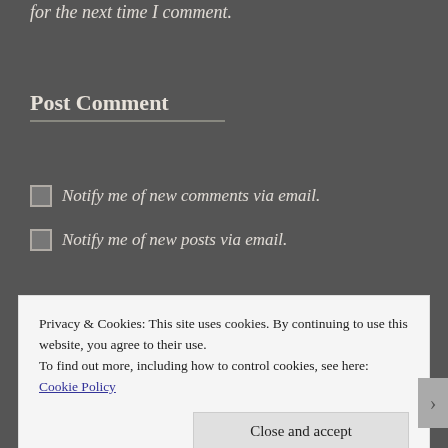for the next time I comment.
Post Comment
Notify me of new comments via email.
Notify me of new posts via email.
Search ...
Privacy & Cookies: This site uses cookies. By continuing to use this website, you agree to their use.
To find out more, including how to control cookies, see here: Cookie Policy
Close and accept